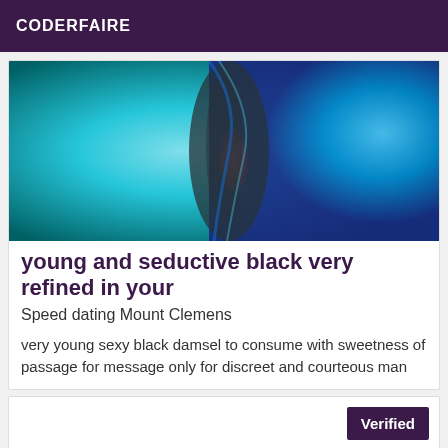CODERFAIRE
[Figure (photo): Abstract blue and teal water/liquid art photograph with a dark swirl in the center]
young and seductive black very refined in your
Speed dating Mount Clemens
very young sexy black damsel to consume with sweetness of passage for message only for discreet and courteous man
Verified